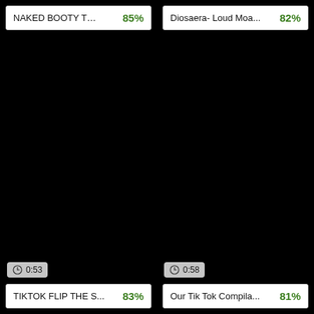[Figure (screenshot): Video thumbnail top-left with title bar showing 'NAKED BOOTY TWE...' and 85% match score]
[Figure (screenshot): Video thumbnail top-right with title bar showing 'Diosaera- Loud Moa...' and 82% match score]
[Figure (screenshot): Video thumbnail bottom-left with duration badge '0:53' and title bar showing 'TIKTOK FLIP THE S...' and 83% match score]
[Figure (screenshot): Video thumbnail bottom-right with duration badge '0:58' and title bar showing 'Our Tik Tok Compila...' and 81% match score]